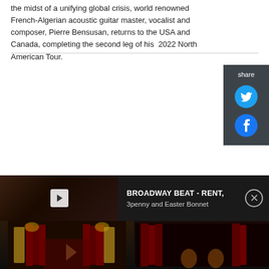the midst of a unifying global crisis, world renowned French-Algerian acoustic guitar master, vocalist and composer, Pierre Bensusan, returns to the USA and Canada, completing the second leg of his  2022 North American Tour.
[Figure (other): Social share panel with Twitter and Facebook icons on dark grey background]
[Figure (screenshot): Video player bar showing a theatre stage thumbnail with play button, title BROADWAY BEAT - RENT, 3penny and Easter Bonnet, with close button]
[Figure (photo): Dark bottom strip showing theatre/stage imagery with red curtains]